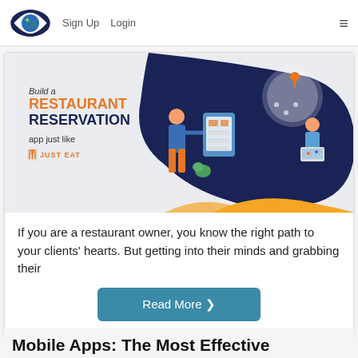Sign Up  Login
[Figure (illustration): Promotional banner: 'Build a RESTAURANT RESERVATION app just like JUST EAT' with illustrations of people interacting with a food ordering interface on a dark navy and orange background.]
If you are a restaurant owner, you know the right path to your clients' hearts. But getting into their minds and grabbing their
Read More ›
Mobile Apps: The Most Effective